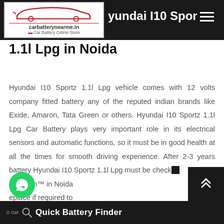carbatterynearme.in Car Battery Online Store | Hyundai I10 Sportz 1.1l Lpg in Noida
Hyundai I10 Sportz 1.1l Lpg in Noida
Hyundai I10 Sportz 1.1l Lpg vehicle comes with 12 volts company fitted battery any of the reputed indian brands like Exide, Amaron, Tata Green or others. Hyundai I10 Sportz 1.1l Lpg Car Battery plays very important role in its electrical sensors and automatic functions, so it must be in good health at all the times for smooth driving experience. After 2-3 years battery Hyundai I10 Sportz 1.1l Lpg must be checked at carbatterynearme.in™ in Noida and replace if required to
Quick Battery Finder